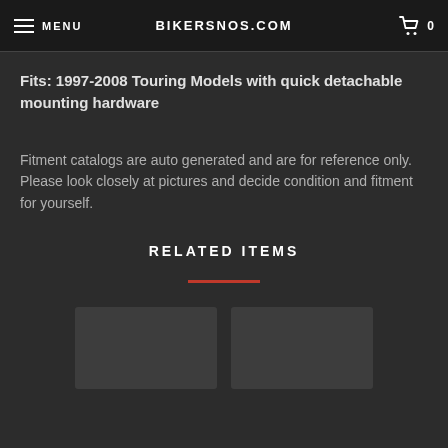MENU | bikersnos.com | 0
Fits: 1997-2008 Touring Models with quick detachable mounting hardware
Fitment catalogs are auto generated and are for reference only. Please look closely at pictures and decide condition and fitment for yourself.
RELATED ITEMS
[Figure (other): Two blurred product thumbnail images side by side below the Related Items section]